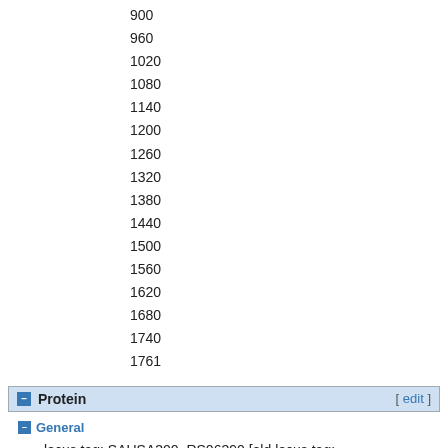900
960
1020
1080
1140
1200
1260
1320
1380
1440
1500
1560
1620
1680
1740
1761
Protein
General
locus tag: SAUSA300_RS06390 [old locus tag: SAUSA300_1182 ]
symbol: SAUSA300_RS06390